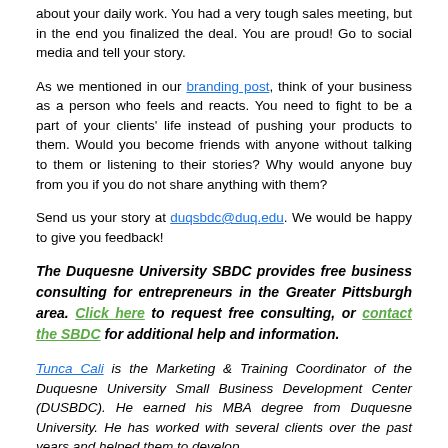about your daily work. You had a very tough sales meeting, but in the end you finalized the deal. You are proud! Go to social media and tell your story.
As we mentioned in our branding post, think of your business as a person who feels and reacts. You need to fight to be a part of your clients' life instead of pushing your products to them. Would you become friends with anyone without talking to them or listening to their stories? Why would anyone buy from you if you do not share anything with them?
Send us your story at duqsbdc@duq.edu. We would be happy to give you feedback!
The Duquesne University SBDC provides free business consulting for entrepreneurs in the Greater Pittsburgh area. Click here to request free consulting, or contact the SBDC for additional help and information.
Tunca Cali is the Marketing & Training Coordinator of the Duquesne University Small Business Development Center (DUSBDC). He earned his MBA degree from Duquesne University. He has worked with several clients over the past years and helped them to develop